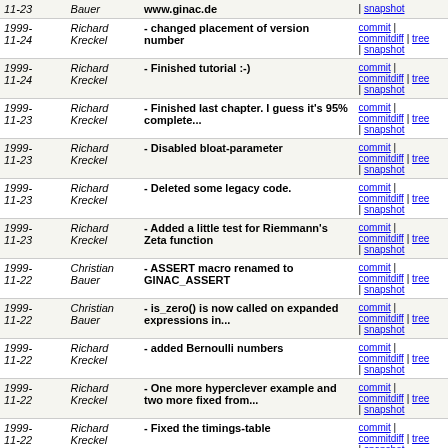| Date | Author | Message | Links |
| --- | --- | --- | --- |
| 1999-11-24 | Richard Kreckel | - changed placement of version number | commit | commitdiff | tree | snapshot |
| 1999-11-24 | Richard Kreckel | - Finished tutorial :-) | commit | commitdiff | tree | snapshot |
| 1999-11-23 | Richard Kreckel | - Finished last chapter. I guess it's 95% complete... | commit | commitdiff | tree | snapshot |
| 1999-11-23 | Richard Kreckel | - Disabled bloat-parameter | commit | commitdiff | tree | snapshot |
| 1999-11-23 | Richard Kreckel | - Deleted some legacy code. | commit | commitdiff | tree | snapshot |
| 1999-11-23 | Richard Kreckel | - Added a little test for Riemmann's Zeta function | commit | commitdiff | tree | snapshot |
| 1999-11-22 | Christian Bauer | - ASSERT macro renamed to GINAC_ASSERT | commit | commitdiff | tree | snapshot |
| 1999-11-22 | Christian Bauer | - is_zero() is now called on expanded expressions in... | commit | commitdiff | tree | snapshot |
| 1999-11-22 | Richard Kreckel | - added Bernoulli numbers | commit | commitdiff | tree | snapshot |
| 1999-11-22 | Richard Kreckel | - One more hyperclever example and two more fixed from... | commit | commitdiff | tree | snapshot |
| 1999-11-22 | Richard Kreckel | - Fixed the timings-table | commit | commitdiff | tree | snapshot |
| 1999-11-22 | Christian Bauer | - fixed exp/log checks | commit | commitdiff | tree | snapshot |
| 1999-11- | Richard | - a little bit more consistent | commit | commitdiff | tree |